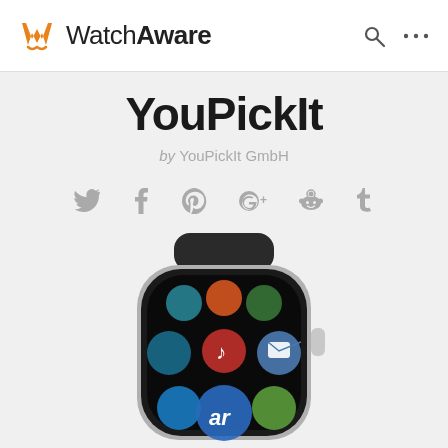WatchAware
YouPickIt
by YouPickIt GmbH
Social sharing icons: Twitter, Facebook, Pinterest, Google+, Reddit, Tumblr
[Figure (photo): Apple Watch showing app icons including Music and Mail apps on its screen, viewed from the front, partially cropped at the bottom of the page]